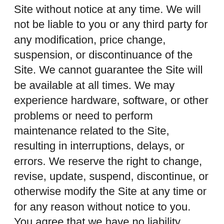Site without notice at any time. We will not be liable to you or any third party for any modification, price change, suspension, or discontinuance of the Site. We cannot guarantee the Site will be available at all times. We may experience hardware, software, or other problems or need to perform maintenance related to the Site, resulting in interruptions, delays, or errors. We reserve the right to change, revise, update, suspend, discontinue, or otherwise modify the Site at any time or for any reason without notice to you. You agree that we have no liability whatsoever for any loss, damage, or inconvenience caused by your inability to access or use the Site during any downtime or discontinuance of the Site. Nothing in these Terms of Use will be construed to obligate us to maintain and support the Site or to supply any corrections, updates, or releases in connection therewith.